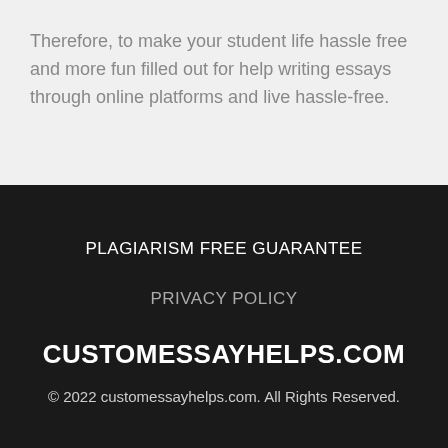Therefore, to make your student life hassle free and more fun filled out for help writing essays through online platforms and live hassle-free.
PLAGIARISM FREE GUARANTEE
PRIVACY POLICY
CUSTOMESSAYHELPS.COM
© 2022 customessayhelps.com. All Rights Reserved.